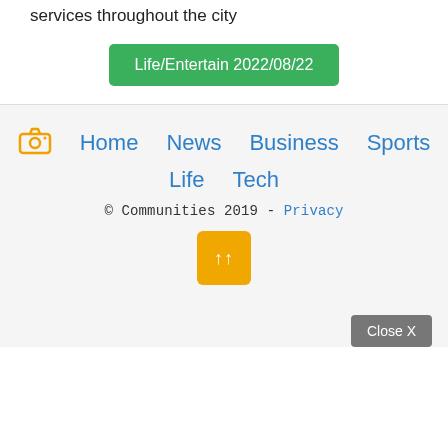services throughout the city
Life/Entertain 2022/08/22
Home  News  Business  Sports  Life  Tech  © Communities 2019 - Privacy
↑↑
Close X